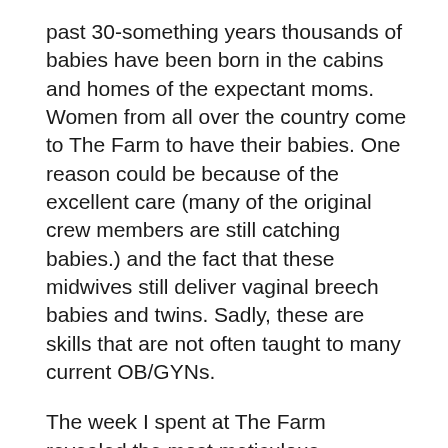past 30-something years thousands of babies have been born in the cabins and homes of the expectant moms. Women from all over the country come to The Farm to have their babies. One reason could be because of the excellent care (many of the original crew members are still catching babies.) and the fact that these midwives still deliver vaginal breech babies and twins. Sadly, these are skills that are not often taught to many current OB/GYNs.
The week I spent at The Farm revealed the most meticulous, instinctual and caring work I have ever seen in childbirth. These women palpated bellies and felt for fetal suture line to determine baby position instead of solely relying on ultra sound machines. They check for the baby's heart rate without being confined by an external fetal heart rate monitor by using a fetal scope. I wish more doctors would roll up their sleeves and dive into the trenches and not be afraid to touch a woman. I